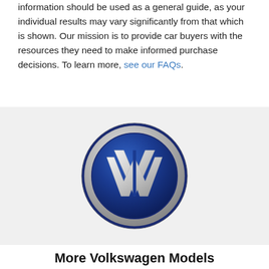information should be used as a general guide, as your individual results may vary significantly from that which is shown. Our mission is to provide car buyers with the resources they need to make informed purchase decisions. To learn more, see our FAQs.
[Figure (logo): Volkswagen circular logo with blue background and silver VW lettering]
More Volkswagen Models
Volkswagen Arteon